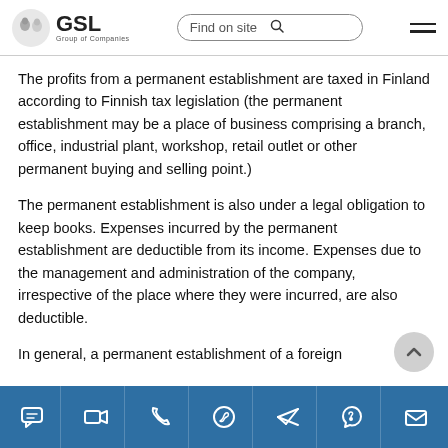GSL Group of Companies — Find on site
The profits from a permanent establishment are taxed in Finland according to Finnish tax legislation (the permanent establishment may be a place of business comprising a branch, office, industrial plant, workshop, retail outlet or other permanent buying and selling point.)
The permanent establishment is also under a legal obligation to keep books. Expenses incurred by the permanent establishment are deductible from its income. Expenses due to the management and administration of the company, irrespective of the place where they were incurred, are also deductible.
In general, a permanent establishment of a foreign
Navigation icons: chat, video, phone, WhatsApp, Telegram, Viber, email